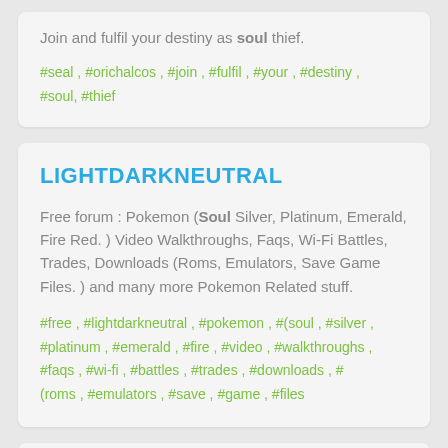Join and fulfil your destiny as soul thief.
#seal , #orichalcos , #join , #fulfil , #your , #destiny , #soul, #thief
LIGHTDARKNEUTRAL
Free forum : Pokemon (Soul Silver, Platinum, Emerald, Fire Red. ) Video Walkthroughs, Faqs, Wi-Fi Battles, Trades, Downloads (Roms, Emulators, Save Game Files. ) and many more Pokemon Related stuff.
#free , #lightdarkneutral , #pokemon , #(soul , #silver , #platinum , #emerald , #fire , #video , #walkthroughs , #faqs , #wi-fi , #battles , #trades , #downloads , # (roms , #emulators , #save , #game , #files
SOUL EATER RP